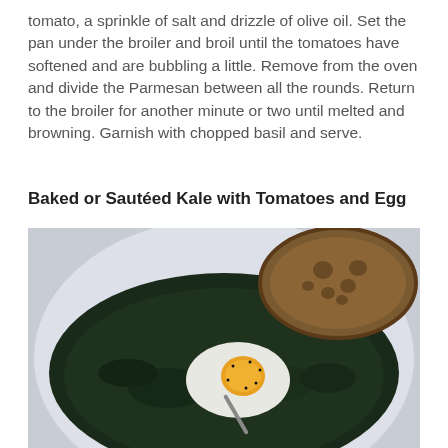tomato, a sprinkle of salt and drizzle of olive oil. Set the pan under the broiler and broil until the tomatoes have softened and are bubbling a little. Remove from the oven and divide the Parmesan between all the rounds. Return to the broiler for another minute or two until melted and browning. Garnish with chopped basil and serve.
Baked or Sautéed Kale with Tomatoes and Egg
[Figure (photo): A bowl containing baked kale with tomatoes and a fried egg topped with black pepper, served alongside a slice of rustic bread.]